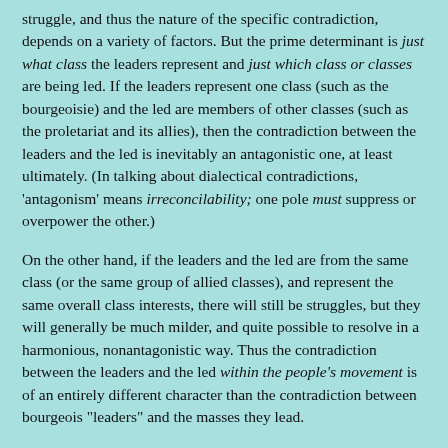struggle, and thus the nature of the specific contradiction, depends on a variety of factors. But the prime determinant is just what class the leaders represent and just which class or classes are being led. If the leaders represent one class (such as the bourgeoisie) and the led are members of other classes (such as the proletariat and its allies), then the contradiction between the leaders and the led is inevitably an antagonistic one, at least ultimately. (In talking about dialectical contradictions, 'antagonism' means irreconcilability; one pole must suppress or overpower the other.)
On the other hand, if the leaders and the led are from the same class (or the same group of allied classes), and represent the same overall class interests, there will still be struggles, but they will generally be much milder, and quite possible to resolve in a harmonious, nonantagonistic way. Thus the contradiction between the leaders and the led within the people's movement is of an entirely different character than the contradiction between bourgeois "leaders" and the masses they lead.
However, the thing to be emphasized at present is not the possibility of harmoniously resolving contradictions between the leaders and the led within the people's movement, but rather the existence of actual contradictions even there, actual struggle between the two. Revisionists always deny that such contradictions exist, and only those—like Mao—who genuinely do represent the